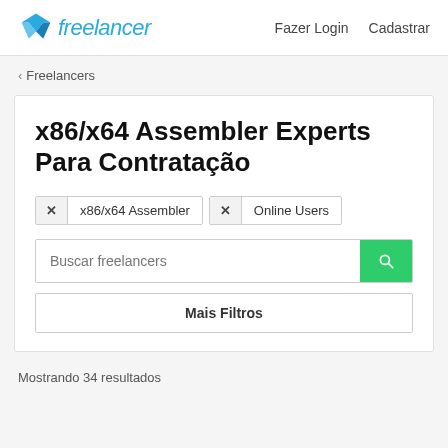Freelancer | Fazer Login | Cadastrar
‹ Freelancers
x86/x64 Assembler Experts Para Contratação
x  x86/x64 Assembler  x  Online Users
Buscar freelancers
Mais Filtros
Mostrando 34 resultados